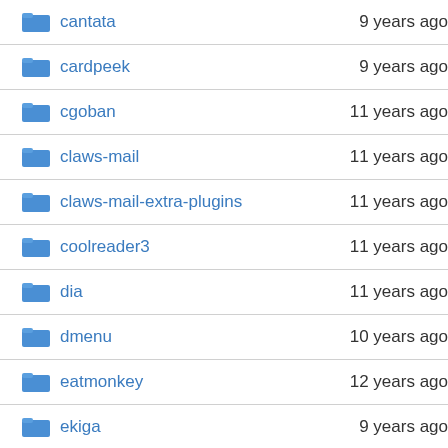| Name | Last modified |
| --- | --- |
| cantata | 9 years ago |
| cardpeek | 9 years ago |
| cgoban | 11 years ago |
| claws-mail | 11 years ago |
| claws-mail-extra-plugins | 11 years ago |
| coolreader3 | 11 years ago |
| dia | 11 years ago |
| dmenu | 10 years ago |
| eatmonkey | 12 years ago |
| ekiga | 9 years ago |